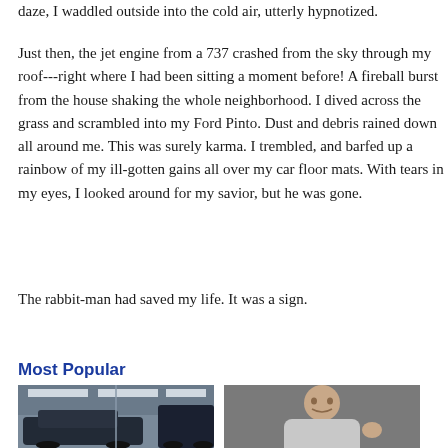daze, I waddled outside into the cold air, utterly hypnotized.
Just then, the jet engine from a 737 crashed from the sky through my roof---right where I had been sitting a moment before! A fireball burst from the house shaking the whole neighborhood. I dived across the grass and scrambled into my Ford Pinto. Dust and debris rained down all around me. This was surely karma. I trembled, and barfed up a rainbow of my ill-gotten gains all over my car floor mats. With tears in my eyes, I looked around for my savior, but he was gone.
The rabbit-man had saved my life. It was a sign.
Most Popular
[Figure (photo): Photo of a car in a garage/parking area]
[Figure (photo): Photo of a person (portrait)]